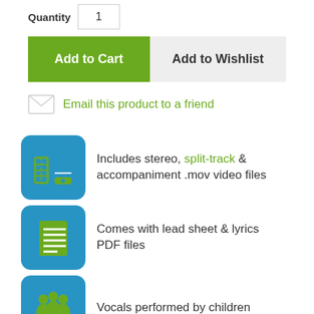Quantity  1
[Figure (screenshot): Add to Cart and Add to Wishlist buttons]
Email this product to a friend
Includes stereo, split-track & accompaniment .mov video files
Comes with lead sheet & lyrics PDF files
Vocals performed by children
Easy to follow on screen lyrics
Refer to this page to use the free